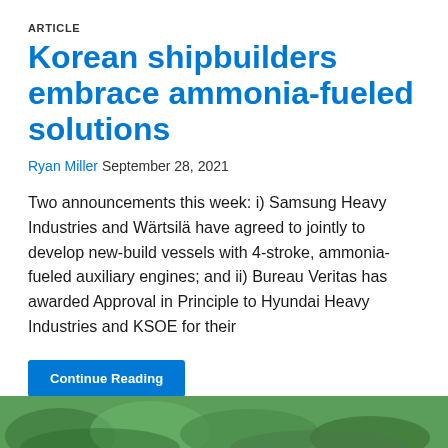ARTICLE
Korean shipbuilders embrace ammonia-fueled solutions
Ryan Miller September 28, 2021
Two announcements this week: i) Samsung Heavy Industries and Wärtsilä have agreed to jointly to develop new-build vessels with 4-stroke, ammonia-fueled auxiliary engines; and ii) Bureau Veritas has awarded Approval in Principle to Hyundai Heavy Industries and KSOE for their
Continue Reading
[Figure (photo): Partial green plant/nature image at bottom of page]